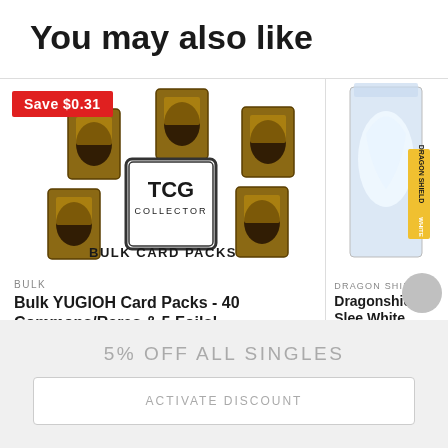You may also like
[Figure (illustration): Product card: Bulk YUGIOH Card Packs with TCG Collector logo and multiple card images. Red badge showing Save $0.31 in top left. Card images scattered around TCG COLLECTOR BULK CARD PACKS logo.]
BULK
Bulk YUGIOH Card Packs - 40 Commons/Rares & 5 Foils!
[Figure (photo): Dragon Shield card sleeve box in white, showing a dragon illustration on the packaging.]
DRAGON SHIELD
Dragonshield Slee White
5% OFF ALL SINGLES
ACTIVATE DISCOUNT